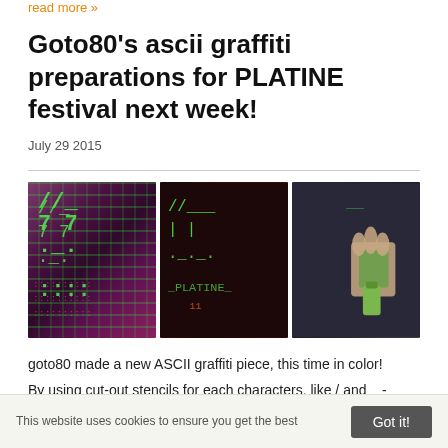read more »
Goto80's ascii graffiti preparations for PLATINE festival next week!
July 29 2015
[Figure (photo): Three photos showing ASCII graffiti art being created on a dark wall using green spray paint stencils. Left image shows close-up of green ASCII characters on purple/dark background. Middle shows wider view of ASCII art on wall. Right shows a hand holding a spray can stencil against a dark wall.]
goto80 made a new ASCII graffiti piece, this time in color!
By using cut-out stencils for each characters, like / and _ - spraying them one by one.
This website uses cookies to ensure you get the best